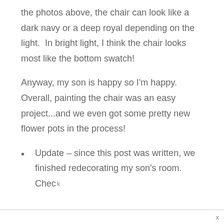the photos above, the chair can look like a dark navy or a deep royal depending on the light.  In bright light, I think the chair looks most like the bottom swatch!
Anyway, my son is happy so I'm happy.  Overall, painting the chair was an easy project...and we even got some pretty new flower pots in the process!
Update – since this post was written, we finished redecorating my son's room.  Check